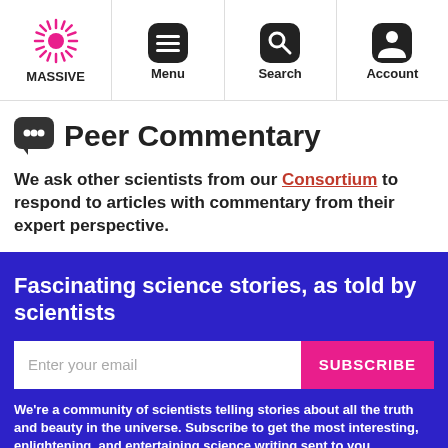MASSIVE | Menu | Search | Account
💬 Peer Commentary
We ask other scientists from our Consortium to respond to articles with commentary from their expert perspective.
Fascinating science stories, as told by scientists
Enter your email  SUBSCRIBE
We're a community of scientists telling stories about all the truth and beauty in the universe. Subscribe to get the most interesting, enlightening, and entertaining science writing sent to you.
× Not Interested  ✓ Already Subscribed